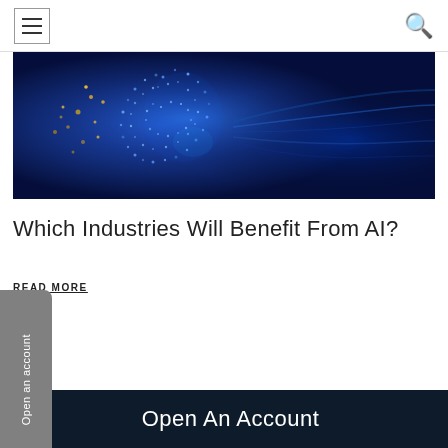Navigation bar with hamburger menu and search icon
[Figure (illustration): A glowing blue digital AI face/head profile made of particles and data points on a dark blue background, representing artificial intelligence]
Which Industries Will Benefit From AI?
READ MORE
Open an account
Open An Account